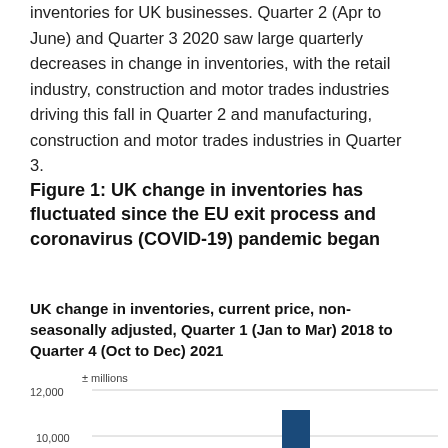inventories for UK businesses. Quarter 2 (Apr to June) and Quarter 3 2020 saw large quarterly decreases in change in inventories, with the retail industry, construction and motor trades industries driving this fall in Quarter 2 and manufacturing, construction and motor trades industries in Quarter 3.
Figure 1: UK change in inventories has fluctuated since the EU exit process and coronavirus (COVID-19) pandemic began
UK change in inventories, current price, non-seasonally adjusted, Quarter 1 (Jan to Mar) 2018 to Quarter 4 (Oct to Dec) 2021
[Figure (bar-chart): Bar chart showing UK change in inventories from Q1 2018 to Q4 2021, with y-axis showing values including 10,000 and 12,000. A blue bar is visible near center-right of chart rising to approximately 10,500.]